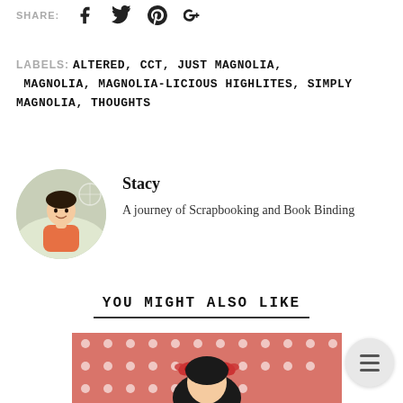SHARE:
LABELS: ALTERED, CCT, JUST MAGNOLIA, MAGNOLIA, MAGNOLIA-LICIOUS HIGHLITES, SIMPLY MAGNOLIA, THOUGHTS
[Figure (photo): Circular profile photo of Stacy, a woman smiling outdoors]
Stacy
A journey of Scrapbooking and Book Binding
YOU MIGHT ALSO LIKE
[Figure (photo): Partial photo of a pink polka-dot scrapbook/craft project featuring a cartoon character with bows]